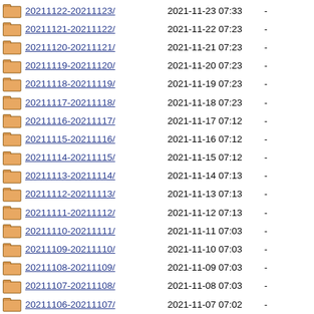20211122-20211123/ 2021-11-23 07:33 -
20211121-20211122/ 2021-11-22 07:23 -
20211120-20211121/ 2021-11-21 07:23 -
20211119-20211120/ 2021-11-20 07:23 -
20211118-20211119/ 2021-11-19 07:23 -
20211117-20211118/ 2021-11-18 07:23 -
20211116-20211117/ 2021-11-17 07:12 -
20211115-20211116/ 2021-11-16 07:12 -
20211114-20211115/ 2021-11-15 07:12 -
20211113-20211114/ 2021-11-14 07:13 -
20211112-20211113/ 2021-11-13 07:13 -
20211111-20211112/ 2021-11-12 07:13 -
20211110-20211111/ 2021-11-11 07:03 -
20211109-20211110/ 2021-11-10 07:03 -
20211108-20211109/ 2021-11-09 07:03 -
20211107-20211108/ 2021-11-08 07:03 -
20211106-20211107/ 2021-11-07 07:02 -
20211105-20211106/ 2021-11-05 18:16 -